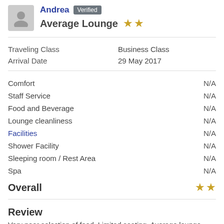Andrea Verified
Average Lounge ★★
| Field | Value |
| --- | --- |
| Traveling Class | Business Class |
| Arrival Date | 29 May 2017 |
| Category | Rating |
| --- | --- |
| Comfort | N/A |
| Staff Service | N/A |
| Food and Beverage | N/A |
| Lounge cleanliness | N/A |
| Facilities | N/A |
| Shower Facility | N/A |
| Sleeping room / Rest Area | N/A |
| Spa | N/A |
Overall ★★
Review
Very poor selection of food. Limited seating. Average lounge.